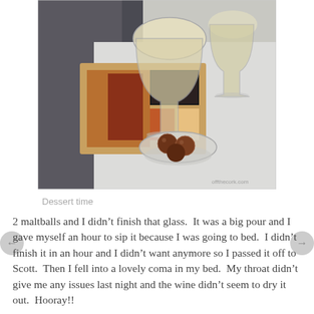[Figure (photo): Two wine glasses filled with white wine on a white table, with a decorative placemat featuring a wine bottle motif on the left, and a small glass bowl containing three chocolate malt balls in the foreground. Watermark reads 'offthecork.com'.]
Dessert time
2 maltballs and I didn’t finish that glass.  It was a big pour and I gave myself an hour to sip it because I was going to bed.  I didn’t finish it in an hour and I didn’t want anymore so I passed it off to Scott.  Then I fell into a lovely coma in my bed.  My throat didn’t give me any issues last night and the wine didn’t seem to dry it out.  Hooray!!